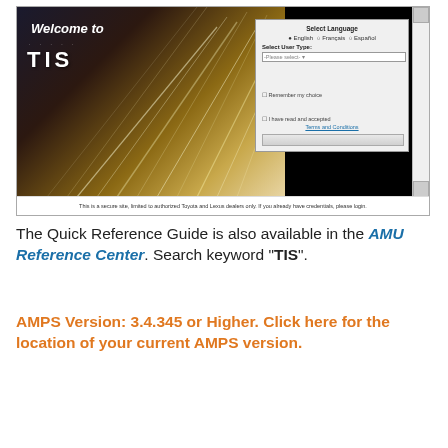[Figure (screenshot): Screenshot of Toyota TIS (Technical Information System) login page showing 'Welcome to TIS' banner on dark background with light streaks, and a language/user type selection dialog box with English selected, Select User Type dropdown, Remember my choice checkbox, I have read and accepted Terms and Conditions checkbox, and a login button. Bottom caption reads: This is a secure site, limited to authorized Toyota and Lexus dealers only. If you already have credentials, please login.]
The Quick Reference Guide is also available in the AMU Reference Center. Search keyword "TIS".
AMPS Version: 3.4.345 or Higher. Click here for the location of your current AMPS version.